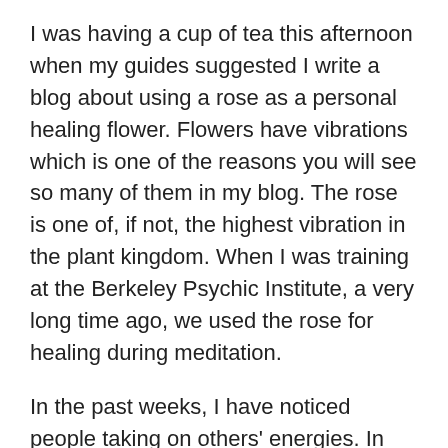I was having a cup of tea this afternoon when my guides suggested I write a blog about using a rose as a personal healing flower. Flowers have vibrations which is one of the reasons you will see so many of them in my blog. The rose is one of, if not, the highest vibration in the plant kingdom. When I was training at the Berkeley Psychic Institute, a very long time ago, we used the rose for healing during meditation.
In the past weeks, I have noticed people taking on others' energies. In fact, we are all one and there are no boundaries. It is a bit of a contradiction though because as third dimensional humans we have a boundary, it's called a body. Your body, my body and not our body. It is a body which is dense and works on your personal energy. We are opening to the Divinity within ourselves and lightening